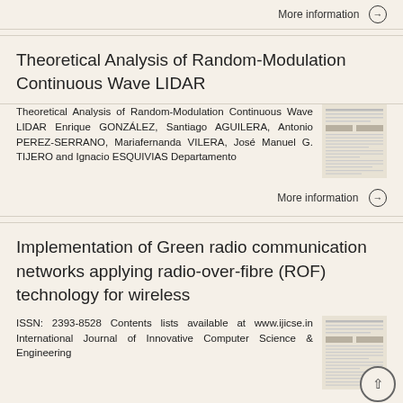More information →
Theoretical Analysis of Random-Modulation Continuous Wave LIDAR
Theoretical Analysis of Random-Modulation Continuous Wave LIDAR Enrique GONZÁLEZ, Santiago AGUILERA, Antonio PEREZ-SERRANO, Mariafernanda VILERA, José Manuel G. TIJERO and Ignacio ESQUIVIAS Departamento
More information →
Implementation of Green radio communication networks applying radio-over-fibre (ROF) technology for wireless
ISSN: 2393-8528 Contents lists available at www.ijicse.in International Journal of Innovative Computer Science & Engineering